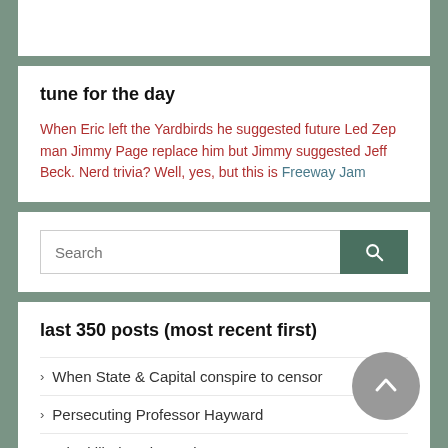tune for the day
When Eric left the Yardbirds he suggested future Led Zep man Jimmy Page replace him but Jimmy suggested Jeff Beck. Nerd trivia? Well, yes, but this is Freeway Jam
Search
last 350 posts (most recent first)
When State & Capital conspire to censor
Persecuting Professor Hayward
Who killed Daria Dugina?
Attacks on Crimea vs the nuclear ante